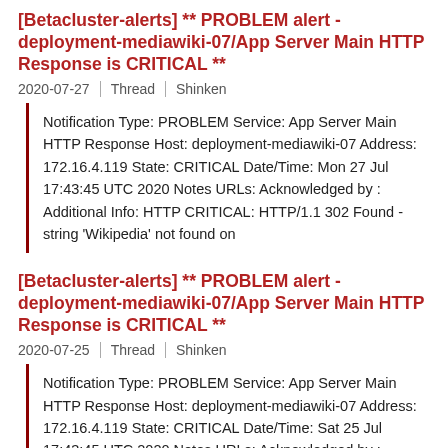[Betacluster-alerts] ** PROBLEM alert - deployment-mediawiki-07/App Server Main HTTP Response is CRITICAL **
2020-07-27  Thread  Shinken
Notification Type: PROBLEM Service: App Server Main HTTP Response Host: deployment-mediawiki-07 Address: 172.16.4.119 State: CRITICAL Date/Time: Mon 27 Jul 17:43:45 UTC 2020 Notes URLs: Acknowledged by : Additional Info: HTTP CRITICAL: HTTP/1.1 302 Found - string 'Wikipedia' not found on
[Betacluster-alerts] ** PROBLEM alert - deployment-mediawiki-07/App Server Main HTTP Response is CRITICAL **
2020-07-25  Thread  Shinken
Notification Type: PROBLEM Service: App Server Main HTTP Response Host: deployment-mediawiki-07 Address: 172.16.4.119 State: CRITICAL Date/Time: Sat 25 Jul 17:43:45 UTC 2020 Notes URLs: Acknowledged by : Additional Info: HTTP CRITICAL: HTTP/1.1 302 Found - string 'Wikipedia' not found on
[Betacluster-alerts] ** PROBLEM alert - deployment-mediawiki-07/App HTTP